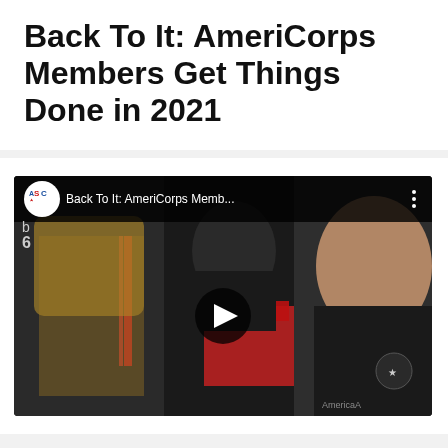Back To It: AmeriCorps Members Get Things Done in 2021
[Figure (screenshot): YouTube video thumbnail showing three people wearing black masks and AmeriCorps gear. The video title bar shows 'ASC' logo and text 'Back To It: AmeriCorps Memb...' with a play button in the center.]